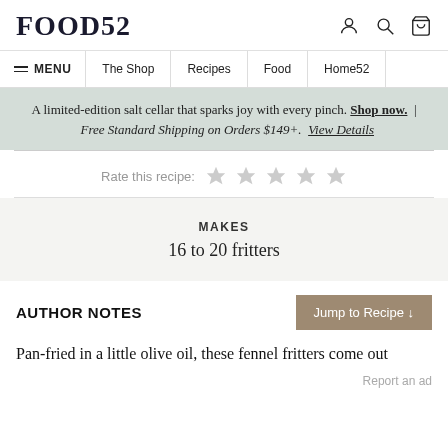FOOD52
MENU | The Shop | Recipes | Food | Home52
A limited-edition salt cellar that sparks joy with every pinch. Shop now. | Free Standard Shipping on Orders $149+. View Details
Rate this recipe: ★ ★ ★ ★ ★
MAKES
16 to 20 fritters
AUTHOR NOTES
Pan-fried in a little olive oil, these fennel fritters come out
Report an ad